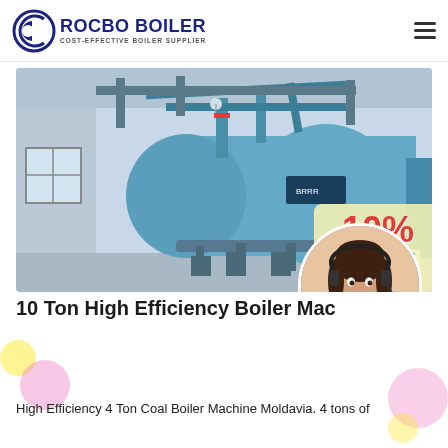[Figure (logo): Rocbo Boiler logo — circular moon/C icon in dark blue, company name ROCBO BOILER in bold dark blue, subtitle COST-EFFECTIVE BOILER SUPPLIER]
[Figure (photo): Industrial boiler machines in a factory setting — large blue cylindrical horizontal boilers, piping, industrial ceiling. Overlay shows 10% DISCOUNT badge and a customer service representative in a circular frame.]
10 Ton High Efficiency Boiler Mac
High Efficiency 4 Ton Coal Boiler Machine Moldavia. 4 tons of